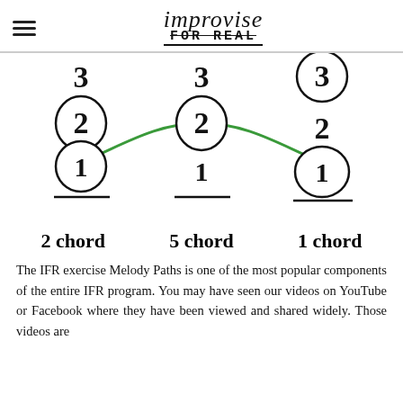improvise FOR REAL
[Figure (illustration): Music theory diagram showing three chord columns (2 chord, 5 chord, 1 chord) with numbered notes (1, 2, 3) arranged vertically. Circled numbers indicate the active melody note for each chord. A green curved line connects circled 1 on the 2-chord, up to circled 2 on the 5-chord, then back down to circled 1 on the 1-chord, showing a melody path.]
2 chord        5 chord        1 chord
The IFR exercise Melody Paths is one of the most popular components of the entire IFR program. You may have seen our videos on YouTube or Facebook where they have been viewed and shared widely. Those videos are